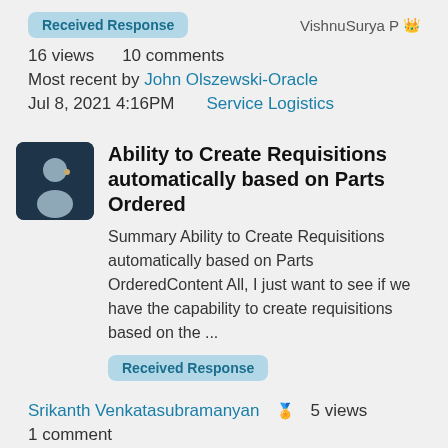Received Response   VishnuSurya P 👑
16 views   10 comments
Most recent by John Olszewski-Oracle
Jul 8, 2021 4:16PM   Service Logistics
[Figure (illustration): Dark blue square avatar with silhouette of a person]
Ability to Create Requisitions automatically based on Parts Ordered
Summary Ability to Create Requisitions automatically based on Parts OrderedContent All, I just want to see if we have the capability to create requisitions based on the ...
Received Response
Srikanth Venkatasubramanyan 🏅   5 views
1 comment
Most recent by John Olszewski-Oracle